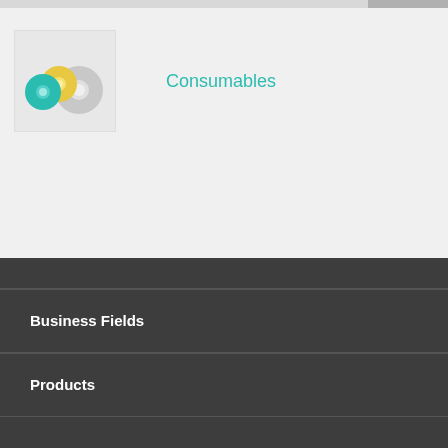[Figure (photo): Rolls of colored tape/consumables — teal, yellow, and metallic/gray colored tape rolls grouped together]
Consumables
Business Fields
Products